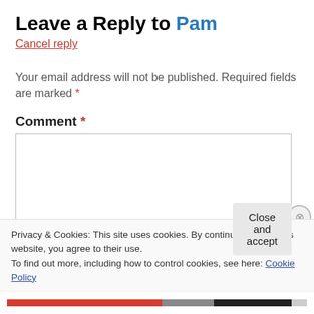Leave a Reply to Pam
Cancel reply
Your email address will not be published. Required fields are marked *
Comment *
Privacy & Cookies: This site uses cookies. By continuing to use this website, you agree to their use. To find out more, including how to control cookies, see here: Cookie Policy